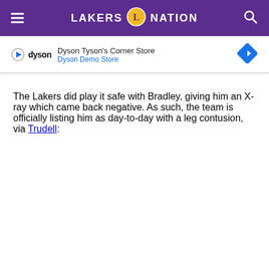LAKERS NATION
[Figure (screenshot): Dyson advertisement banner showing Dyson logo, 'Dyson Tyson's Corner Store' title, 'Dyson Demo Store' subtitle, and a blue navigation diamond icon]
The Lakers did play it safe with Bradley, giving him an X-ray which came back negative. As such, the team is officially listing him as day-to-day with a leg contusion, via Trudell: